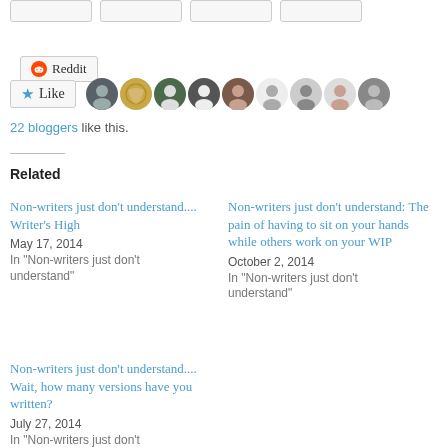[Figure (screenshot): Row of social sharing button stubs at top of page]
[Figure (screenshot): Reddit share button with Reddit alien icon]
[Figure (screenshot): Like button with blue star and row of blogger avatar thumbnails]
22 bloggers like this.
Related
Non-writers just don't understand.... Writer's High
May 17, 2014
In "Non-writers just don't understand"
Non-writers just don't understand: The pain of having to sit on your hands while others work on your WIP
October 2, 2014
In "Non-writers just don't understand"
Non-writers just don't understand.... Wait, how many versions have you written?
July 27, 2014
In "Non-writers just don't understand"